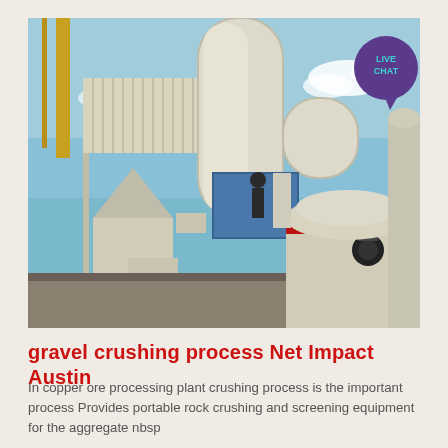[Figure (photo): Industrial mineral processing plant showing large white cylindrical crushing/grinding machines with conical hoppers, large white pipe/duct curving overhead, a blue worker basket/platform, corrugated roof structure, yellow crane arm, and blue sky with clouds. A Live Chat button (teal text on purple circle with tail) is overlaid in the top right corner.]
gravel crushing process Net Impact Austin
In copper ore processing plant crushing process is the important process Provides portable rock crushing and screening equipment for the aggregate nbsp